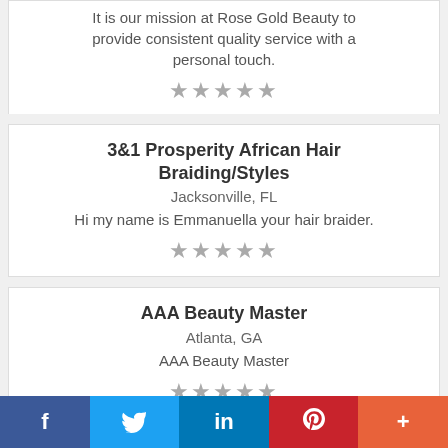Jacksonville, FL
It is our mission at Rose Gold Beauty to provide consistent quality service with a personal touch.
★★★★★
3&1 Prosperity African Hair Braiding/Styles
Jacksonville, FL
Hi my name is Emmanuella your hair braider.
★★★★★
AAA Beauty Master
Atlanta, GA
AAA Beauty Master
★★★★★
f  (Facebook)  Twitter (bird)  in (LinkedIn)  P (Pinterest)  + (More)